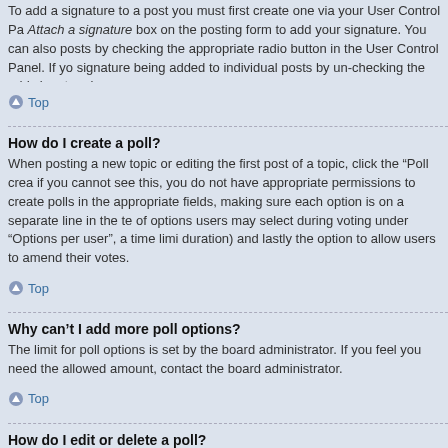To add a signature to a post you must first create one via your User Control Panel. Once created, you can check the Attach a signature box on the posting form to add your signature. You can also add a signature by default to all your posts by checking the appropriate radio button in the User Control Panel. If you do so, you can still prevent a signature being added to individual posts by un-checking the add signature box within the posting form.
Top
How do I create a poll?
When posting a new topic or editing the first post of a topic, click the “Poll creation” tab below the main posting form; if you cannot see this, you do not have appropriate permissions to create polls. Enter a title and at least two options in the appropriate fields, making sure each option is on a separate line in the textarea. You can also set the number of options users may select during voting under “Options per user”, a time limit in days for the poll (0 for infinite duration) and lastly the option to allow users to amend their votes.
Top
Why can’t I add more poll options?
The limit for poll options is set by the board administrator. If you feel you need to add more options to your poll than the allowed amount, contact the board administrator.
Top
How do I edit or delete a poll?
As with posts, polls can only be edited by the original poster, a moderator or an administrator. To edit a poll, click to edit the first post in the topic; this always has the poll associated with it. If no one has cast a vote, users can delete the poll or edit any poll option. However, if members have already placed votes, only moderators or administrators can edit or delete it.